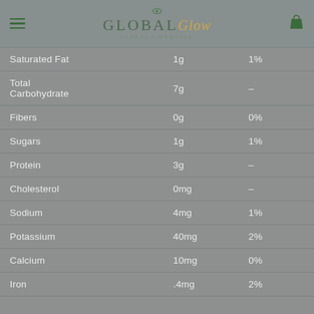Global Glow - Global Lifestyle
| Nutrient | Amount | Daily Value |
| --- | --- | --- |
| Saturated Fat | 1g | 1% |
| Total Carbohydrate | 7g | – |
| Fibers | 0g | 0% |
| Sugars | 1g | 1% |
| Protein | 3g | – |
| Cholesterol | 0mg | – |
| Sodium | 4mg | 1% |
| Potassium | 40mg | 2% |
| Calcium | 10mg | 0% |
| Iron | .4mg | 2% |